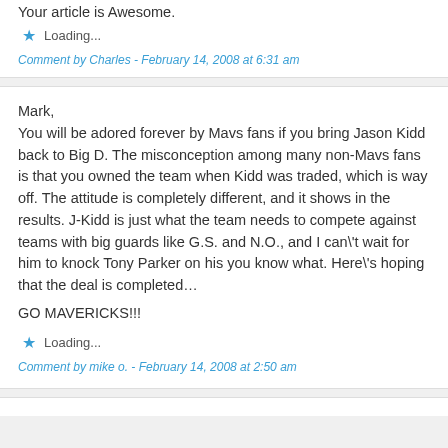Your article is Awesome.
Loading...
Comment by Charles - February 14, 2008 at 6:31 am
Mark,
You will be adored forever by Mavs fans if you bring Jason Kidd back to Big D. The misconception among many non-Mavs fans is that you owned the team when Kidd was traded, which is way off. The attitude is completely different, and it shows in the results. J-Kidd is just what the team needs to compete against teams with big guards like G.S. and N.O., and I can\'t wait for him to knock Tony Parker on his you know what. Here\'s hoping that the deal is completed…

GO MAVERICKS!!!
Loading...
Comment by mike o. - February 14, 2008 at 2:50 am